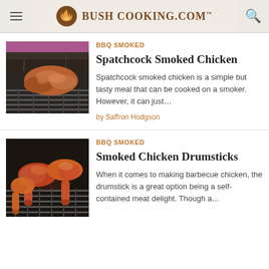Bush Cooking.com
[Figure (photo): Spatchcock smoked chicken on a grill grate inside a smoker, dark smoky background with pink/purple hue at top]
BBQ SMOKED
Spatchcock Smoked Chicken
Spatchcock smoked chicken is a simple but tasty meal that can be cooked on a smoker. However, it can just…
by Saffron Hodgson
[Figure (photo): Smoked chicken drumsticks on a grill grate, golden-brown to deep red BBQ color]
BBQ SMOKED
Smoked Chicken Drumsticks
When it comes to making barbecue chicken, the drumstick is a great option being a self-contained meat delight. Though a…